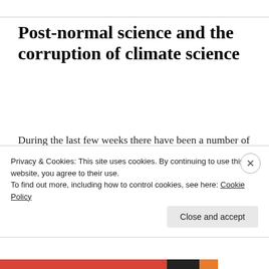Post-normal science and the corruption of climate science
During the last few weeks there have been a number of attempt by AGW Alarmists to reach out to the sceptics. These included two guest posts on Watts Up With That. The most recent, by Judith Curry, discussed how trust in climate research might be rebuilt. Willis Eschenbach's scathing response – included a wish that the trust in the
Privacy & Cookies: This site uses cookies. By continuing to use this website, you agree to their use.
To find out more, including how to control cookies, see here: Cookie Policy